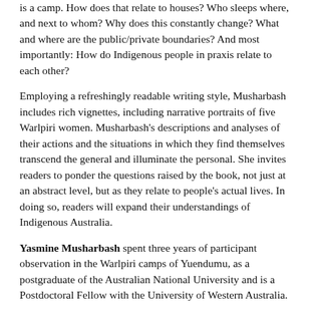is a camp. How does that relate to houses? Who sleeps where, and next to whom? Why does this constantly change? What and where are the public/private boundaries? And most importantly: How do Indigenous people in praxis relate to each other?
Employing a refreshingly readable writing style, Musharbash includes rich vignettes, including narrative portraits of five Warlpiri women. Musharbash's descriptions and analyses of their actions and the situations in which they find themselves transcend the general and illuminate the personal. She invites readers to ponder the questions raised by the book, not just at an abstract level, but as they relate to people's actual lives. In doing so, readers will expand their understandings of Indigenous Australia.
Yasmine Musharbash spent three years of participant observation in the Warlpiri camps of Yuendumu, as a postgraduate of the Australian National University and is a Postdoctoral Fellow with the University of Western Australia.
Reviews and endorsements
'Yuendumu Everyday is an enjoyable, insightful, and important examination of some underappreciated